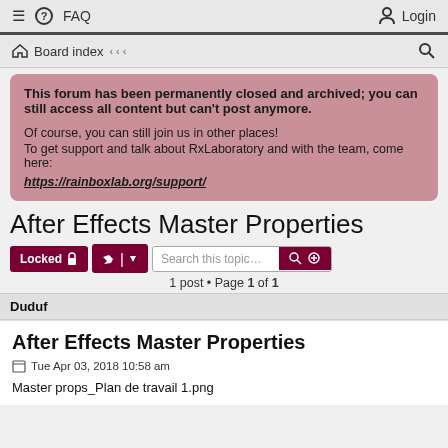FAQ  Login
Board index
This forum has been permanently closed and archived; you can still access all content but can't post anymore.

Of course, you can still join us in other places!
To get support and talk about RxLaboratory and with the team, come here:
https://rainboxlab.org/support/
After Effects Master Properties
Locked  Search this topic...  1 post • Page 1 of 1
Duduf
After Effects Master Properties
Tue Apr 03, 2018 10:58 am
Master props_Plan de travail 1.png